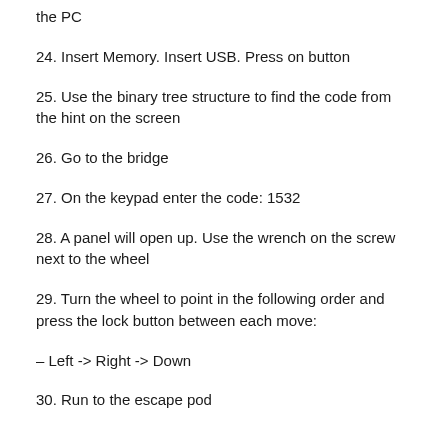the PC
24. Insert Memory. Insert USB. Press on button
25. Use the binary tree structure to find the code from the hint on the screen
26. Go to the bridge
27. On the keypad enter the code: 1532
28. A panel will open up. Use the wrench on the screw next to the wheel
29. Turn the wheel to point in the following order and press the lock button between each move:
– Left -> Right -> Down
30. Run to the escape pod